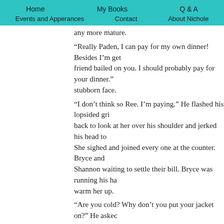Home   My Books   Q & A   Events and Apperances   Contact   About Nichole
any more mature.
“Really Paden, I can pay for my own dinner! Besides I’m get friend bailed on you. I should probably pay for your dinner.” stubborn face.
“I don’t think so Ree. I’m paying.” He flashed his lopsided gri back to look at her over his shoulder and jerked his head to She sighed and joined every one at the counter. Bryce and Shannon waiting to settle their bill. Bryce was running his ha warm her up.
“Are you cold? Why don’t you put your jacket on?” He askec She shrugged. “I think I’m just standing in a draft. I got goos Shannon snickered and turned to look at Juliette.
“Jules, are you not feeling well? Maybe you are coming dow joke.
“Yeah, probably a stomach virus. I suddenly feel like I might around the room. “Or maybe I’m just allergic the cheap per and sniffed loudly in her direction. “Yep, most definitely som Ree bit her bottom lip to keep from chuckling, knowing that never could give a good reason. She said it was just natural She had a lot of really. What she really had a f